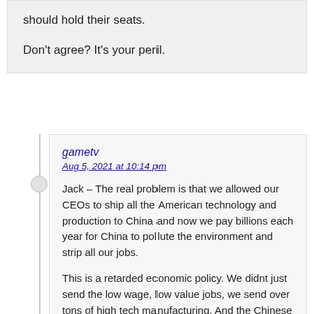should hold their seats.
Don't agree? It's your peril.
gametv
Aug 5, 2021 at 10:14 pm
Jack – The real problem is that we allowed our CEOs to ship all the American technology and production to China and now we pay billions each year for China to pollute the environment and strip all our jobs.
This is a retarded economic policy. We didnt just send the low wage, low value jobs, we send over tons of high tech manufacturing. And the Chinese have stolen all the tech.